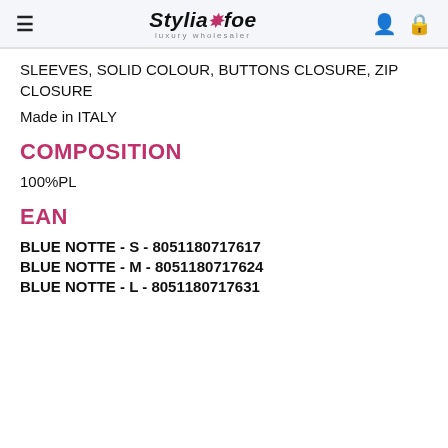Stylia&foe luxury wholesaler
SLEEVES, SOLID COLOUR, BUTTONS CLOSURE, ZIP CLOSURE
Made in ITALY
COMPOSITION
100%PL
EAN
BLUE NOTTE - S - 8051180717617
BLUE NOTTE - M - 8051180717624
BLUE NOTTE - L - 8051180717631